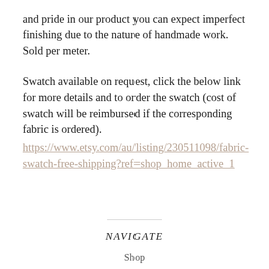and pride in our product you can expect imperfect finishing due to the nature of handmade work. Sold per meter.

Swatch available on request, click the below link for more details and to order the swatch (cost of swatch will be reimbursed if the corresponding fabric is ordered).
https://www.etsy.com/au/listing/230511098/fabric-swatch-free-shipping?ref=shop_home_active_1
NAVIGATE
Shop